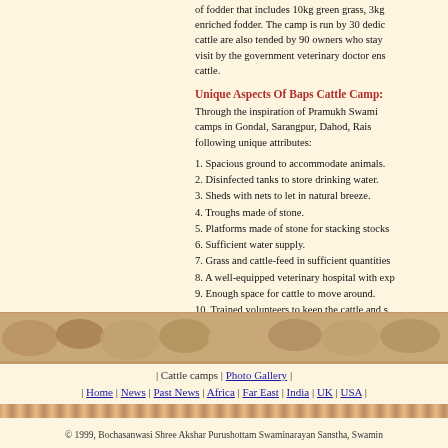of fodder that includes 10kg green grass, 3kg enriched fodder. The camp is run by 30 dedicated cattle are also tended by 90 owners who stay visit by the government veterinary doctor ensures cattle.
Unique Aspects Of Baps Cattle Camp:
Through the inspiration of Pramukh Swami camps in Gondal, Sarangpur, Dahod, Rai following unique attributes:
1. Spacious ground to accommodate animals.
2. Disinfected tanks to store drinking water.
3. Sheds with nets to let in natural breeze.
4. Troughs made of stone.
5. Platforms made of stone for stacking stocks
6. Sufficient water supply.
7. Grass and cattle-feed in sufficient quantities
8. A well-equipped veterinary hospital with exp
9. Enough space for cattle to move around.
10. Trained volunteers to keep the cattle and s
11. Trained staff to carefully unload cattle an that they can be returned to their rightful owner
[Figure (photo): A wide horizontal strip showing a crowd of cattle, appearing as a decorative/photographic border across the full page width.]
| Cattle camps | Photo Gallery | | Home | News | Past News | Africa | Far East | India | UK | USA |
© 1999, Bochasanwasi Shree Akshar Purushottam Swaminarayan Sanstha, Swamin